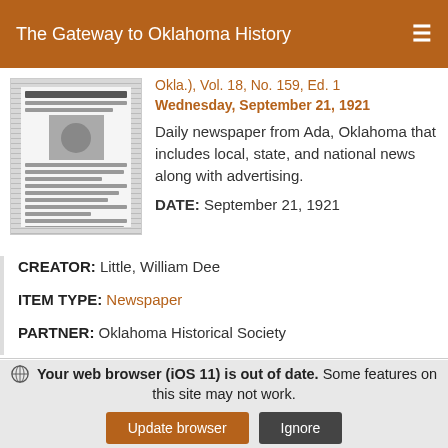The Gateway to Oklahoma History
[Figure (photo): Thumbnail of a historic newspaper front page in black and white]
Okla.), Vol. 18, No. 159, Ed. 1 Wednesday, September 21, 1921
Daily newspaper from Ada, Oklahoma that includes local, state, and national news along with advertising.
DATE: September 21, 1921
CREATOR: Little, William Dee
ITEM TYPE: Newspaper
PARTNER: Oklahoma Historical Society
Your web browser (iOS 11) is out of date. Some features on this site may not work.